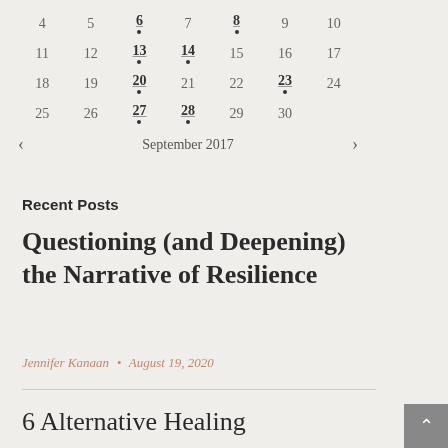| 4 | 5 | 6• | 7 | 8• | 9 | 10 |
| 11 | 12 | 13• | 14• | 15 | 16 | 17 |
| 18 | 19 | 20• | 21 | 22 | 23• | 24 |
| 25 | 26 | 27• | 28• | 29 | 30 |  |
< September 2017 >
Recent Posts
Questioning (and Deepening) the Narrative of Resilience
Jennifer Kanaan  •  August 19, 2020
6 Alternative Healing